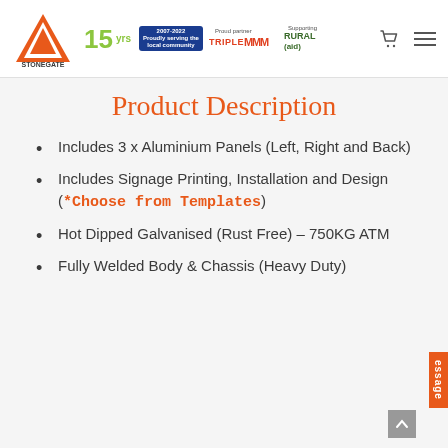Stonegate Industries — Header with logo, 15 yrs badge, Triple M partner, Supporting Rural Aid, cart and menu icons
Product Description
Includes 3 x Aluminium Panels (Left, Right and Back)
Includes Signage Printing, Installation and Design (*Choose from Templates)
Hot Dipped Galvanised (Rust Free) – 750KG ATM
Fully Welded Body & Chassis (Heavy Duty)